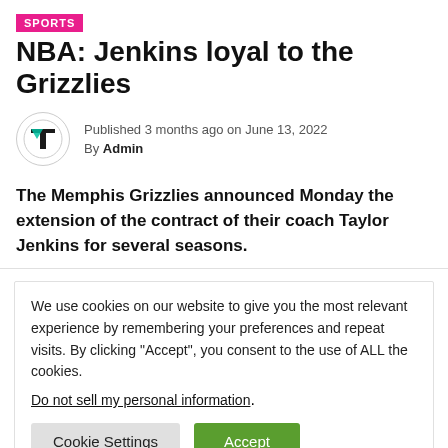SPORTS
NBA: Jenkins loyal to the Grizzlies
Published 3 months ago on June 13, 2022
By Admin
The Memphis Grizzlies announced Monday the extension of the contract of their coach Taylor Jenkins for several seasons.
We use cookies on our website to give you the most relevant experience by remembering your preferences and repeat visits. By clicking “Accept”, you consent to the use of ALL the cookies.
Do not sell my personal information.
Cookie Settings  Accept